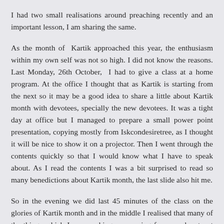I had two small realisations around preaching recently and an important lesson, I am sharing the same.
As the month of Kartik approached this year, the enthusiasm within my own self was not so high. I did not know the reasons. Last Monday, 26th October, I had to give a class at a home program. At the office I thought that as Kartik is starting from the next so it may be a good idea to share a little about Kartik month with devotees, specially the new devotees. It was a tight day at office but I managed to prepare a small power point presentation, copying mostly from Iskcondesiretree, as I thought it will be nice to show it on a projector. Then I went through the contents quickly so that I would know what I have to speak about. As I read the contents I was a bit surprised to read so many benedictions about Kartik month, the last slide also hit me.
So in the evening we did last 45 minutes of the class on the glories of Kartik month and in the middle I realised that many of the things which I am speaking are coming from my heart not from my memory or whatever little I had prepared. The class ended at an enthusiastic note with everyone charged up for the the Kartik month, including my own self!  As I drove back home after the class , the whole content and what all I spoke dawned heavily  upon